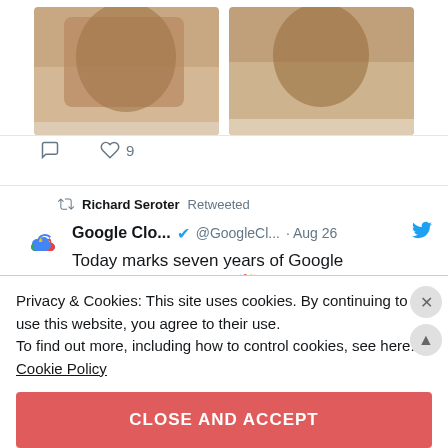[Figure (photo): Two side-by-side photos of a dog on a bed/couch with light-colored fabric]
♡ 9
Richard Seroter Retweeted
Google Clo... ✔ @GoogleCl... · Aug 26
Today marks seven years of Google #Kubernetes Engine. 🎉 In lieu of gifts, we're accepting GIFs that represent how happy you are to transform your business with automation
Privacy & Cookies: This site uses cookies. By continuing to use this website, you agree to their use.
To find out more, including how to control cookies, see here: Cookie Policy
CLOSE AND ACCEPT